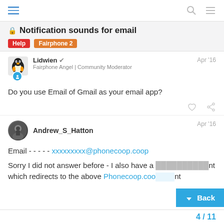Notification sounds for email | Help | Fairphone 2
Notification sounds for email
Lidwien - Fairphone Angel | Community Moderator - Apr '16
Do you use Email of Gmail as your email app?
Andrew_S_Hatton - Apr '16
Email - - - - - xxxxxxxxx@phonecoop.coop
Sorry I did not answer before - I also have a [gmail] account which redirects to the above Phonecoop.coop [account]